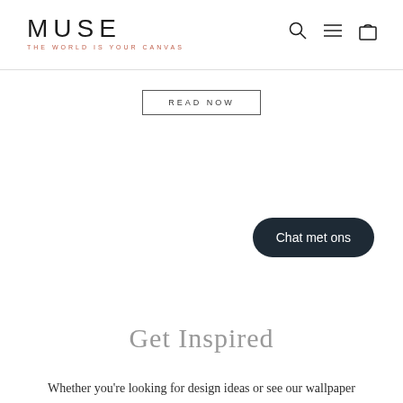MUSE — THE WORLD IS YOUR CANVAS
READ NOW
Get Inspired
Whether you're looking for design ideas or see our wallpaper
Chat met ons